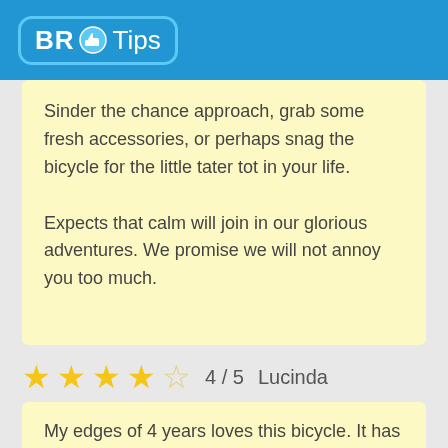BR Tips
Sinder the chance approach, grab some fresh accessories, or perhaps snag the bicycle for the little tater tot in your life.

Expects that calm will join in our glorious adventures. We promise we will not annoy you too much.
4 / 5  Lucinda
My edges of 4 years loves this bicycle. It has Had it subjects that sustains like the pedal with the regular bicycle, as this was the economic way for